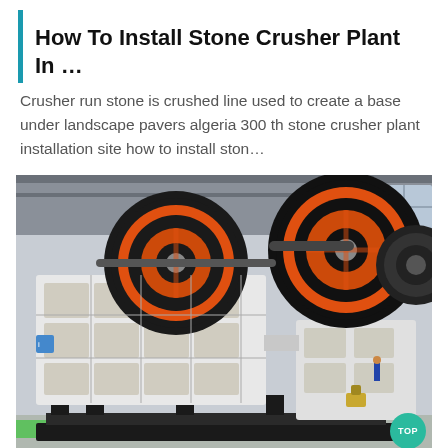How To Install Stone Crusher Plant In …
Crusher run stone is crushed line used to create a base under landscape pavers algeria 300 th stone crusher plant installation site how to install ston…
[Figure (photo): Industrial jaw crusher machine with large orange and black flywheels, white metal frame with rectangular cavities, shown in a factory/warehouse setting. A small green 'TOP' button overlay is visible in the lower right corner.]